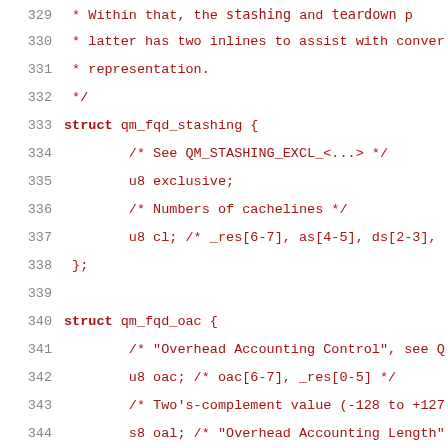329  * Within that, the `stashing` and `teardown` p...
330  * latter has two inlines to assist with conver...
331  * representation.
332  */
333  struct qm_fqd_stashing {
334       /* See QM_STASHING_EXCL_<...> */
335       u8 exclusive;
336       /* Numbers of cachelines */
337       u8 cl; /* _res[6-7], as[4-5], ds[2-3],
338  };
339
340  struct qm_fqd_oac {
341       /* "Overhead Accounting Control", see Q...
342       u8 oac; /* oac[6-7], _res[0-5] */
343       /* Two's-complement value (-128 to +127...
344       s8 oal; /* "Overhead Accounting Length"...
345  };
346
347  struct qm_fqd {
348       /* _res[6-7], orprws[3-5], oa[2], olws[...
349       u8 orpc;
350       u8 cgid;